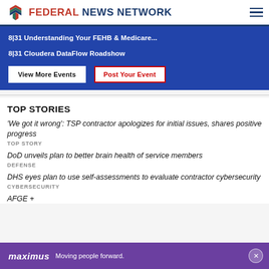FEDERAL NEWS NETWORK
8|31 Understanding Your FEHB & Medicare...
8|31 Cloudera DataFlow Roadshow
View More Events | Post Your Event
TOP STORIES
‘We got it wrong’: TSP contractor apologizes for initial issues, shares positive progress
TOP STORY
DoD unveils plan to better brain health of service members
DEFENSE
DHS eyes plan to use self-assessments to evaluate contractor cybersecurity
CYBERSECURITY
AFGE +
[Figure (screenshot): Maximus advertisement banner - Moving people forward]